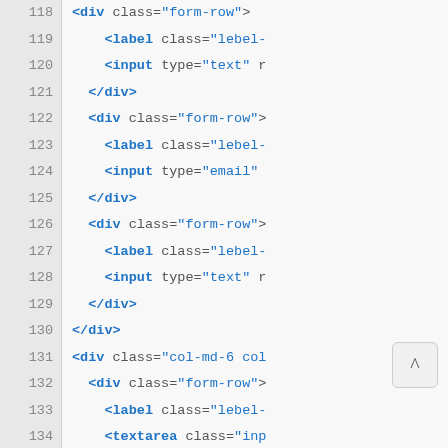[Figure (screenshot): Code editor screenshot showing HTML source code lines 118–145, with line numbers on the left gutter. The code shows HTML form elements (div, label, input, textarea) with class attributes and a tab-content section, syntax highlighted in blue and grey.]